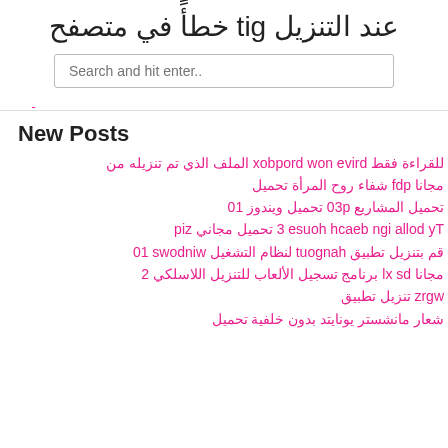عند التنزيل git خطأً في متصفح
Search and hit enter..
New Posts
للقراءة فقط drive now dropbox الملف الذي تم تنزيله من
مجانا pdf شفاء روح المرأة تحميل
تحميل المشاريع p30 تحميل ويندوز 10
Ty dolla ign beach house 3 تحميل مجاني zip
قم بتنزيل تطبيق hangout لنظام التشغيل windows 10
مجانا ds xl برنامج تسجيل الألعاب للتنزيل اللاسلكي 2
wgrz تنزيل تطبيق
شعار مانشستر يونايتد بدون خلفية تحميل